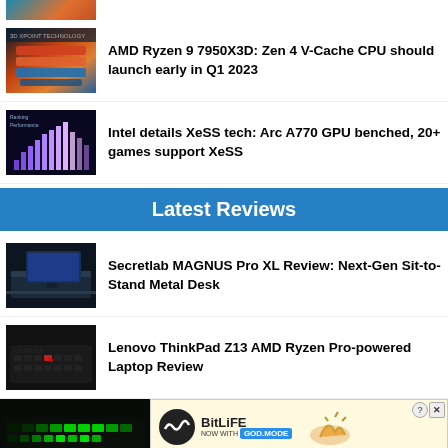[Figure (photo): Partial top thumbnail, mostly cropped off]
[Figure (photo): AMD 3D V-Cache technology chip rendering with colorful layered design]
AMD Ryzen 9 7950X3D: Zen 4 V-Cache CPU should launch early in Q1 2023
[Figure (photo): Intel XeSS benchmark slide with bar charts on dark background]
Intel details XeSS tech: Arc A770 GPU benched, 20+ games support XeSS
Latest Reviews
[Figure (photo): Secretlab MAGNUS Pro XL gaming desk with monitor and dark setup]
Secretlab MAGNUS Pro XL Review: Next-Gen Sit-to-Stand Metal Desk
[Figure (photo): Lenovo ThinkPad Z13 laptop keyboard close-up in dark tone]
Lenovo ThinkPad Z13 AMD Ryzen Pro-powered Laptop Review
[Figure (screenshot): BitLife advertisement banner — NOW WITH GOD MODE]
[Figure (photo): Partial bottom thumbnail with green keyboard lighting]